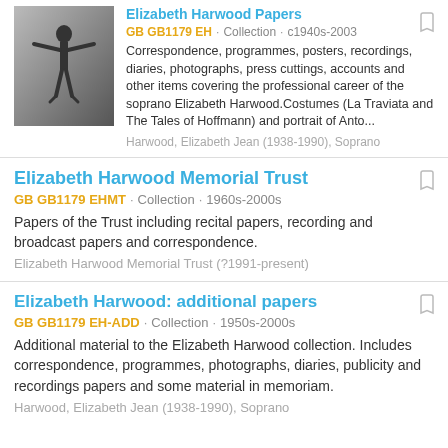[Figure (photo): Black and white photograph of a person (figure skater) on ice with arms outstretched]
Elizabeth Harwood Papers
GB GB1179 EH · Collection · c1940s-2003
Correspondence, programmes, posters, recordings, diaries, photographs, press cuttings, accounts and other items covering the professional career of the soprano Elizabeth Harwood.Costumes (La Traviata and The Tales of Hoffmann) and portrait of Anto...
Harwood, Elizabeth Jean (1938-1990), Soprano
Elizabeth Harwood Memorial Trust
GB GB1179 EHMT · Collection · 1960s-2000s
Papers of the Trust including recital papers, recording and broadcast papers and correspondence.
Elizabeth Harwood Memorial Trust (?1991-present)
Elizabeth Harwood: additional papers
GB GB1179 EH-ADD · Collection · 1950s-2000s
Additional material to the Elizabeth Harwood collection. Includes correspondence, programmes, photographs, diaries, publicity and recordings papers and some material in memoriam.
Harwood, Elizabeth Jean (1938-1990), Soprano